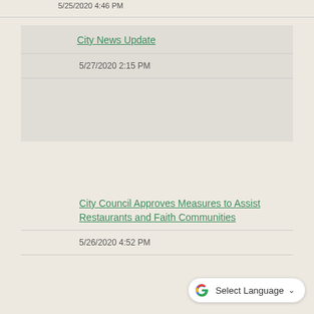5/25/2020 4:46 PM
City News Update
5/27/2020 2:15 PM
City Council Approves Measures to Assist Restaurants and Faith Communities
5/26/2020 4:52 PM
[Figure (logo): Google Translate widget with G logo and Select Language dropdown]